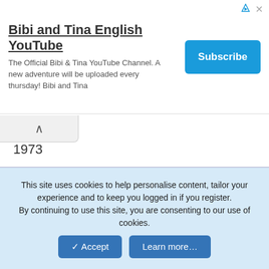[Figure (screenshot): Ad banner for 'Bibi and Tina English YouTube' channel with Subscribe button]
1973
286. AM lady displays her "magic doorway" painting (destroyed by Grover)
287. Bert and Jon Jon: sad/mad/happy
288. Cookie Monster gives Ernie his fortune in exchange for a cookie
289. Cookie Monster: FOOD
290. E&B at the movies: Ernie and his loud snacks; usher
This site uses cookies to help personalise content, tailor your experience and to keep you logged in if you register.
By continuing to use this site, you are consenting to our use of cookies.